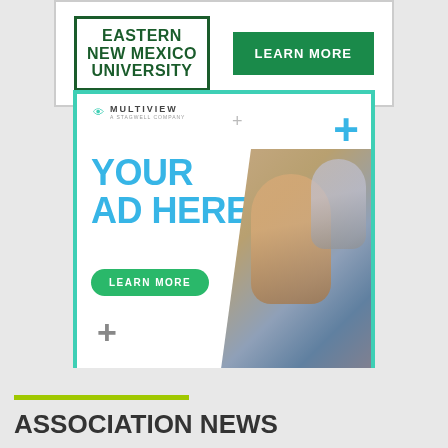[Figure (illustration): Eastern New Mexico University advertisement banner with green bordered logo and green LEARN MORE button]
[Figure (illustration): Multiview digital advertising banner with cyan border showing 'YOUR AD HERE' in blue text, green LEARN MORE button, plus signs, and photo of people at a trade show]
ASSOCIATION NEWS